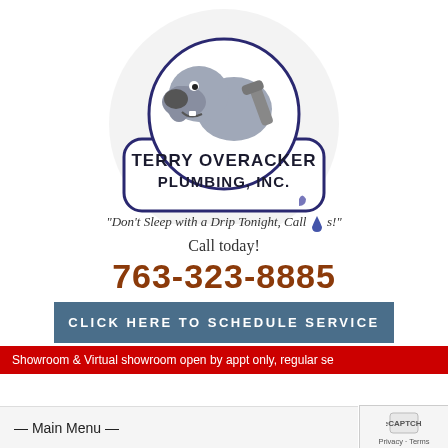[Figure (logo): Terry Overacker Plumbing Inc. logo with cartoon dog mascot holding a wrench, circular badge design with blue border, text reading TERRY OVERACKER PLUMBING, INC.]
"Don't Sleep with a Drip Tonight, Call Us!"
Call today!
763-323-8885
CLICK HERE TO SCHEDULE SERVICE
Showroom & Virtual showroom open by appt only, regular se
— Main Menu —